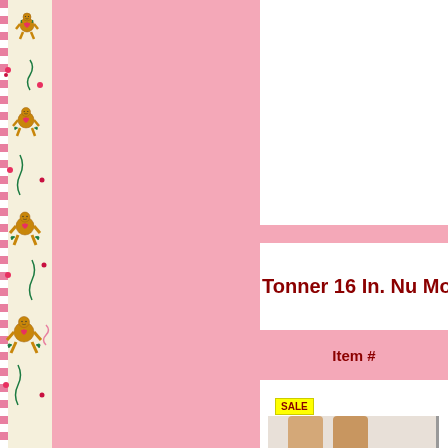[Figure (illustration): Decorative left border strip with gingerbread man pattern on cream background with pink and green accents]
[Figure (photo): Pink decorative center column background]
Tonner 16 In. Nu Moc
Item #
SALE
[Figure (photo): Doll legs wearing beige/cream strappy high-heel sandals with platform soles]